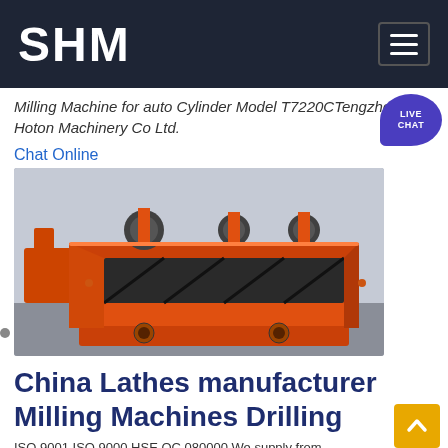SHM
Milling Machine for auto Cylinder Model T7220CTengzhou Hoton Machinery Co Ltd.
Chat Online
[Figure (photo): Large orange industrial flotation machine / milling machinery in a factory setting, viewed from the side at a slight angle. The machine is bright orange with black internal components and cylindrical attachments on top.]
China Lathes manufacturer Milling Machines Drilling
ISO 9001 ISO 9000 HSE QC 080000 We supply from